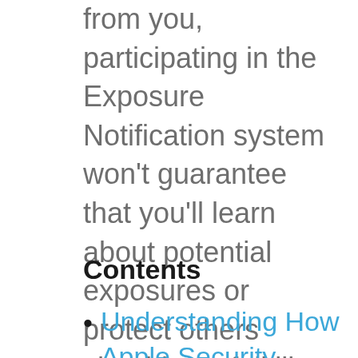from you, participating in the Exposure Notification system won't guarantee that you'll learn about potential exposures or protect others should you fall ill, but it's one more thing we can all do to help ourselves and others.
Contents
Understanding How Apple Security Research Devices Likely